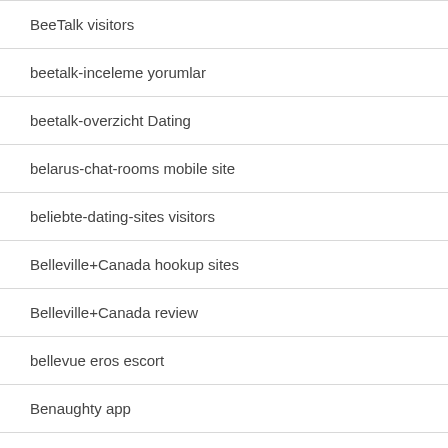BeeTalk visitors
beetalk-inceleme yorumlar
beetalk-overzicht Dating
belarus-chat-rooms mobile site
beliebte-dating-sites visitors
Belleville+Canada hookup sites
Belleville+Canada review
bellevue eros escort
Benaughty app
BENAUGHTY Kontakt